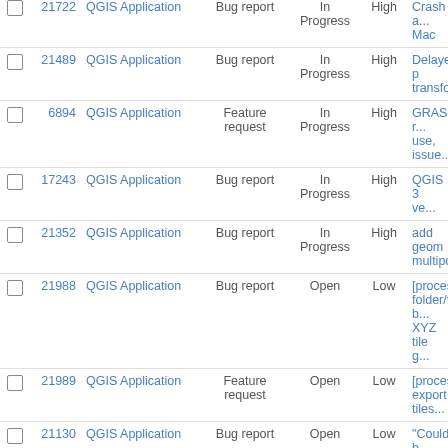|  | # | Project | Type | Status | Priority | Subject |
| --- | --- | --- | --- | --- | --- | --- |
| ☐ | 21722 | QGIS Application | Bug report | In Progress | High | Crash a... Mac |
| ☐ | 21489 | QGIS Application | Bug report | In Progress | High | Delayed p transforma... |
| ☐ | 6894 | QGIS Application | Feature request | In Progress | High | GRASS r... use, issue... |
| ☐ | 17243 | QGIS Application | Bug report | In Progress | High | QGIS 3 ve... |
| ☐ | 21352 | QGIS Application | Bug report | In Progress | High | add geom multipoint... |
| ☐ | 21988 | QGIS Application | Bug report | Open | Low | [processin folder/file b... XYZ tile g... |
| ☐ | 21989 | QGIS Application | Feature request | Open | Low | [processin export tiles... |
| ☐ | 21130 | QGIS Application | Bug report | Open | Low | "Couldn't b... Madeira |
| ☐ | 1828 | QGIS Application | Feature request | Open | Low | "For in the... |
| ☐ | 2241 | QGIS Application | Feature request | Open | Low | "Node too feature wh... switching t... |
| ☐ | 16479 | QGIS Plugin Site | Bug report | Open | Low | "None" res on Django... |
| ☐ | 21399 | QGIS Application | Feature request | Open | Low | "There is a available.... Mac OS |
| ☐ | 17980 | QGIS Application | Bug report | Open | Low | "resources should be... |
| ☐ | 13945 | QGIS Application | Feature request | Open | Low | 'Mutually E categorize... |
| ☐ | 1873 | QGIS Application | Feature request | Open | Low | *db.dropco... |
| ☐ | 1555 | QGIS Application | Feature request | Open | Low | A more eff... |